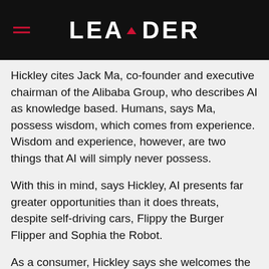LEADER
Hickley cites Jack Ma, co-founder and executive chairman of the Alibaba Group, who describes AI as knowledge based. Humans, says Ma, possess wisdom, which comes from experience. Wisdom and experience, however, are two things that AI will simply never possess.
With this in mind, says Hickley, AI presents far greater opportunities than it does threats, despite self-driving cars, Flippy the Burger Flipper and Sophia the Robot.
As a consumer, Hickley says she welcomes the convenience AI will bring to her fast-paced lifestyle. AI is already prevalent on Facebook and on programmatic and search platforms, and the like. “AI and machine learning rely heavily on data, which is at the core of these platforms,” she says.